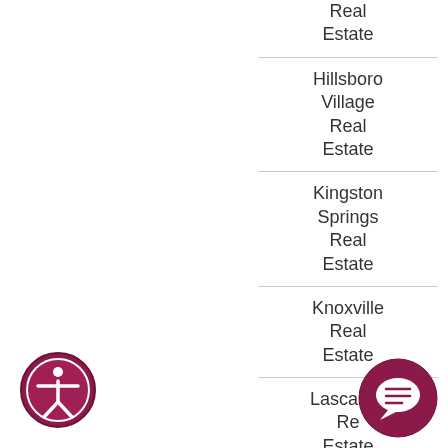Real Estate
Hillsboro Village Real Estate
Kingston Springs Real Estate
Knoxville Real Estate
Lascassas Real Estate
[Figure (illustration): Accessibility icon - circular dark red/maroon icon with person figure]
[Figure (illustration): Chat/support icon - dark red/maroon circle with speech bubble symbol]